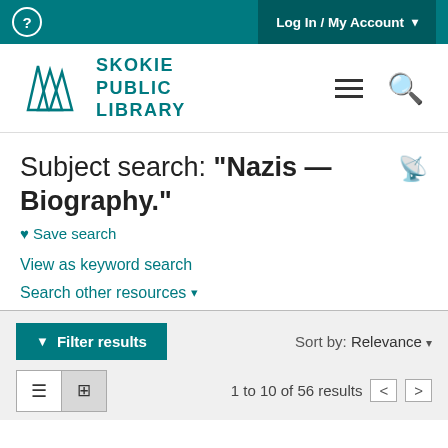? Log In / My Account
[Figure (logo): Skokie Public Library logo with teal book pages icon and text]
Subject search: "Nazis — Biography."
♥ Save search
View as keyword search
Search other resources ˅
Filter results  Sort by: Relevance ˅
1 to 10 of 56 results